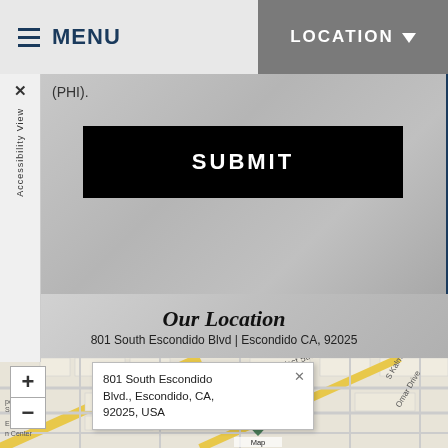MENU | LOCATION
(PHI).
SUBMIT
Our Location
801 South Escondido Blvd | Escondido CA, 92025
[Figure (map): Street map showing Escondido, CA area with zoom controls (+/-) and a map marker popup showing '801 South Escondido Blvd., Escondido, CA, 92025, USA'. Streets visible include West 5th Avenue, Omar Drive, S Kalmia. Map Marker label visible.]